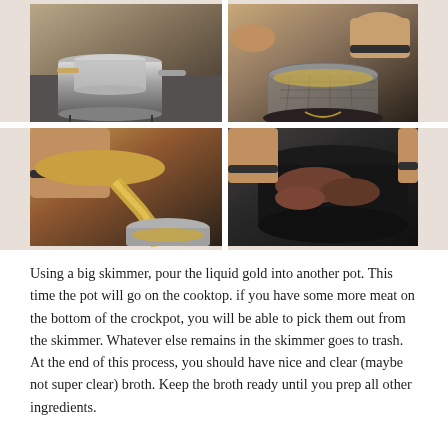[Figure (photo): Four-panel photo grid showing the process of straining broth: top-left shows a silver pot with a strainer on a cooktop; top-right shows hands pouring through a mesh strainer; bottom-left shows liquid gold broth being poured from a crockpot through a strainer into a pot; bottom-right shows hands removing meat from a dark crockpot insert.]
Using a big skimmer, pour the liquid gold into another pot. This time the pot will go on the cooktop. if you have some more meat on the bottom of the crockpot, you will be able to pick them out from the skimmer. Whatever else remains in the skimmer goes to trash. At the end of this process, you should have nice and clear (maybe not super clear) broth. Keep the broth ready until you prep all other ingredients.